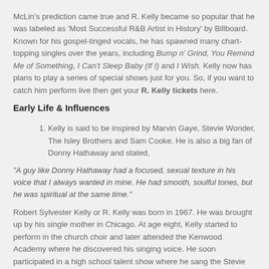McLin's prediction came true and R. Kelly became so popular that he was labeled as 'Most Successful R&B Artist in History' by Billboard. Known for his gospel-tinged vocals, he has spawned many chart-topping singles over the years, including Bump n' Grind, You Remind Me of Something, I Can't Sleep Baby (If I) and I Wish. Kelly now has plans to play a series of special shows just for you. So, if you want to catch him perform live then get your R. Kelly tickets here.
Early Life & Influences
Kelly is said to be inspired by Marvin Gaye, Stevie Wonder, The Isley Brothers and Sam Cooke. He is also a big fan of Donny Hathaway and stated,
"A guy like Donny Hathaway had a focused, sexual texture in his voice that I always wanted in mine. He had smooth, soulful tones, but he was spiritual at the same time."
Robert Sylvester Kelly or R. Kelly was born in 1967. He was brought up by his single mother in Chicago. At age eight, Kelly started to perform in the church choir and later attended the Kenwood Academy where he discovered his singing voice. He soon participated in a high school talent show where he sang the Stevie Wonder song, Ribbon in the Sky. It was during this time, R. Kelly decided to pursue music.